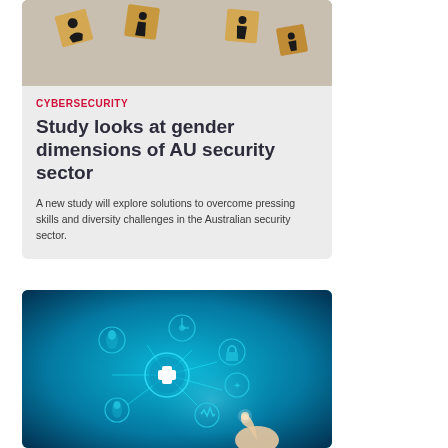[Figure (photo): Wooden blocks with male and female person icons on a grey surface]
CYBERSECURITY
Study looks at gender dimensions of AU security sector
A new study will explore solutions to overcome pressing skills and diversity challenges in the Australian security sector.
[Figure (photo): Dark blue digital health technology background with glowing circular icons including medical cross, padlock, and a hand touching a holographic interface]